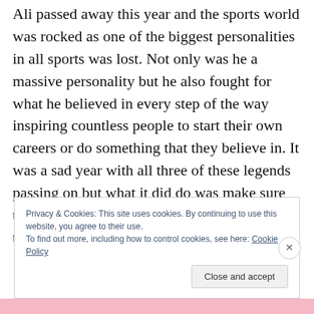Ali passed away this year and the sports world was rocked as one of the biggest personalities in all sports was lost. Not only was he a massive personality but he also fought for what he believed in every step of the way inspiring countless people to start their own careers or do something that they believe in. It was a sad year with all three of these legends passing on but what it did do was make sure that everyone recognises their contribution to the sports world.
Privacy & Cookies: This site uses cookies. By continuing to use this website, you agree to their use.
To find out more, including how to control cookies, see here: Cookie Policy